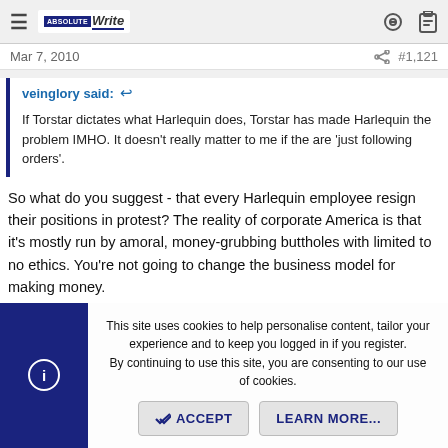AbsoluteWrite — navigation bar with hamburger menu, logo, key icon and clipboard icon
Mar 7, 2010   #1,121
veinglory said: ↩ If Torstar dictates what Harlequin does, Torstar has made Harlequin the problem IMHO. It doesn't really matter to me if the are 'just following orders'.
So what do you suggest - that every Harlequin employee resign their positions in protest? The reality of corporate America is that it's mostly run by amoral, money-grubbing buttholes with limited to no ethics. You're not going to change the business model for making money.
This site uses cookies to help personalise content, tailor your experience and to keep you logged in if you register. By continuing to use this site, you are consenting to our use of cookies.
✓ ACCEPT   LEARN MORE...